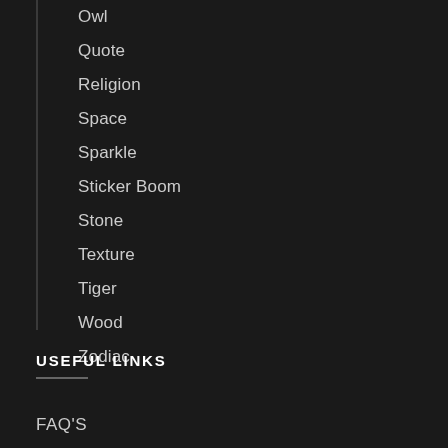Owl
Quote
Religion
Space
Sparkle
Sticker Boom
Stone
Texture
Tiger
Wood
Zodiac
USEFUL LINKS
FAQ'S